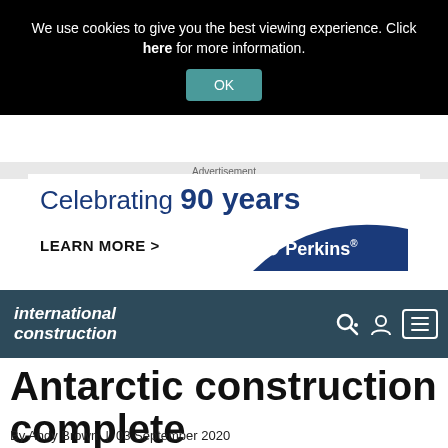We use cookies to give you the best viewing experience. Click here for more information.
OK
Advertisement
[Figure (other): Perkins advertisement: Celebrating 90 years, LEARN MORE >, Perkins logo with arc graphic]
international construction
Antarctic construction complete
By Andy Brown | 03 September 2020
1 min read